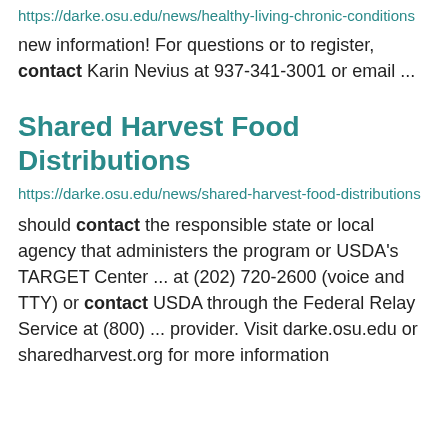https://darke.osu.edu/news/healthy-living-chronic-conditions
new information! For questions or to register, contact Karin Nevius at 937-341-3001 or email ...
Shared Harvest Food Distributions
https://darke.osu.edu/news/shared-harvest-food-distributions
should contact the responsible state or local agency that administers the program or USDA's TARGET Center ... at (202) 720-2600 (voice and TTY) or contact USDA through the Federal Relay Service at (800) ... provider. Visit darke.osu.edu or sharedharvest.org for more information